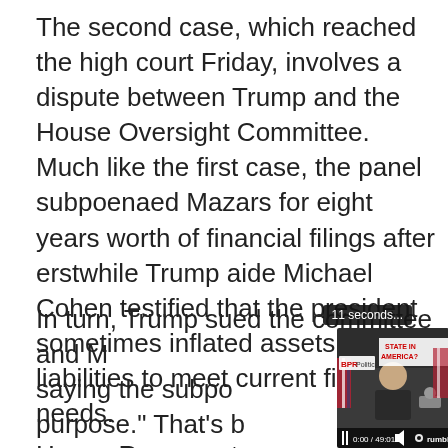The second case, which reached the high court Friday, involves a dispute between Trump and the House Oversight Committee. Much like the first case, the panel subpoenaed Mazars for eight years worth of financial filings after erstwhile Trump aide Michael Cohen testified that the president sometimes inflated assets or hid liabilities to meet current financial needs.
In turn, Trump sued the committee and M saying the subpo purpose." That's b essentially condu acting like a law e appropriate for a
[Figure (screenshot): Embedded video player showing a talk show host at a desk with 'STATE IN AMERICA?' text visible on screen behind him. BPR badge visible in upper left. Rumble player controls at bottom showing 0:00 / 49:01. Tooltip showing '11 seconds...' visible at top right.]
House Representa... that the... would...